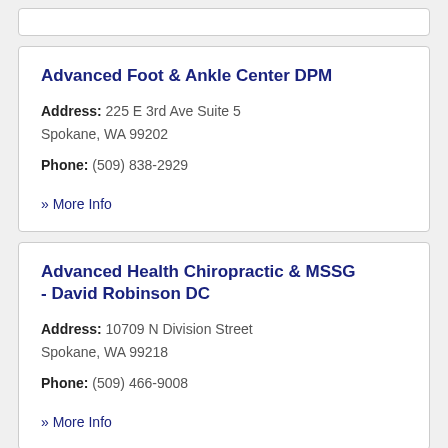Advanced Foot & Ankle Center DPM
Address: 225 E 3rd Ave Suite 5 Spokane, WA 99202
Phone: (509) 838-2929
» More Info
Advanced Health Chiropractic & MSSG - David Robinson DC
Address: 10709 N Division Street Spokane, WA 99218
Phone: (509) 466-9008
» More Info